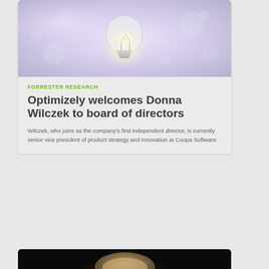[Figure (photo): Photo of a glowing light bulb against a soft bokeh background with warm and cool tones]
FORRESTER RESEARCH
Optimizely welcomes Donna Wilczek to board of directors
Wilczek, who joins as the company's first independent director, is currently senior vice president of product strategy and innovation at Coupa Software.
[Figure (photo): Partial photo of a person holding something against a dark background]